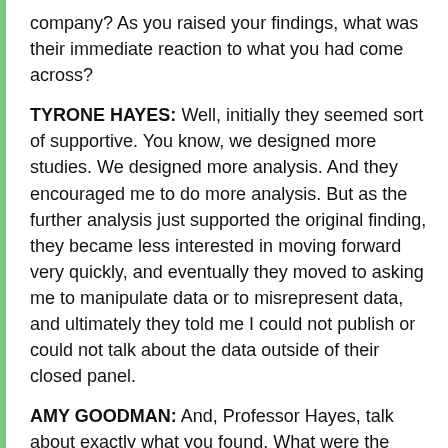company? As you raised your findings, what was their immediate reaction to what you had come across?
TYRONE HAYES: Well, initially they seemed sort of supportive. You know, we designed more studies. We designed more analysis. And they encouraged me to do more analysis. But as the further analysis just supported the original finding, they became less interested in moving forward very quickly, and eventually they moved to asking me to manipulate data or to misrepresent data, and ultimately they told me I could not publish or could not talk about the data outside of their closed panel.
AMY GOODMAN: And, Professor Hayes, talk about exactly what you found. What were the abnormalities you found in frogs, the gender-